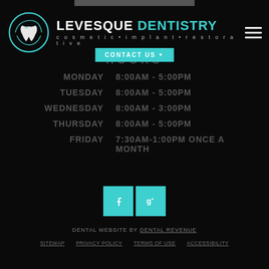[Figure (logo): Levesque Dentistry logo with teal tooth icon inside circle and text 'LEVESQUE DENTISTRY cosmetic • implant • restorative']
HOURS
CONTACT US ▼
| Day | Hours |
| --- | --- |
| MONDAY | 8:00AM - 5:00PM |
| TUESDAY | 8:00AM - 5:00PM |
| WEDNESDAY | 8:00AM - 3:00PM |
| THURSDAY | 8:00AM - 5:00PM |
| FRIDAY | 7:30AM-1:00PM ONCE A MONTH |
[Figure (logo): Facebook and Google+ social media icons in teal squares]
DENTAL WEBSITE BY DENTAL REVENUE
SITEMAP   PRIVACY POLICY   TERMS OF USE   ACCESSIBILITY